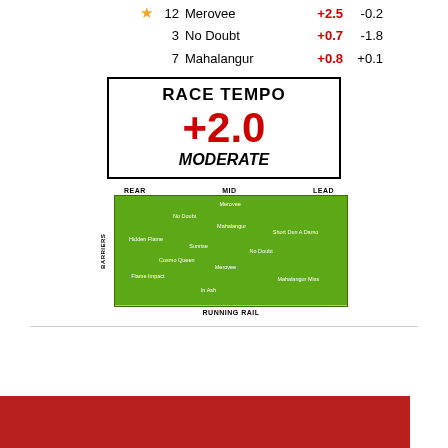★ 12 Merovee +2.5 -0.2
3 No Doubt +0.7 -1.8
7 Mahalangur +0.8 +0.1
RACE TEMPO
+2.0
MODERATE
[Figure (infographic): Green field scatter plot showing horse positions with axes: REAR/MID/LEAD (horizontal) and BARRIERS (vertical), RUNNING RAIL at bottom. Horse names scattered across green field.]